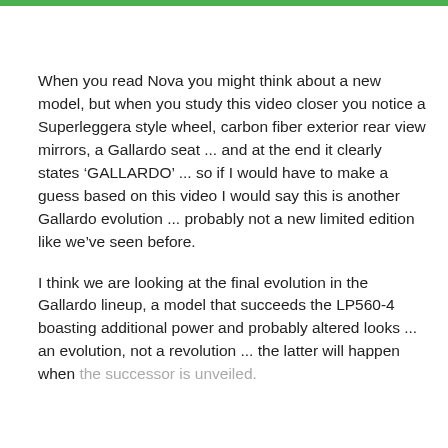When you read Nova you might think about a new model, but when you study this video closer you notice a Superleggera style wheel, carbon fiber exterior rear view mirrors, a Gallardo seat ... and at the end it clearly states ‘GALLARDO’ ... so if I would have to make a guess based on this video I would say this is another Gallardo evolution ... probably not a new limited edition like we’ve seen before.
I think we are looking at the final evolution in the Gallardo lineup, a model that succeeds the LP560-4 boasting additional power and probably altered looks ... an evolution, not a revolution ... the latter will happen when the successor is unveiled.